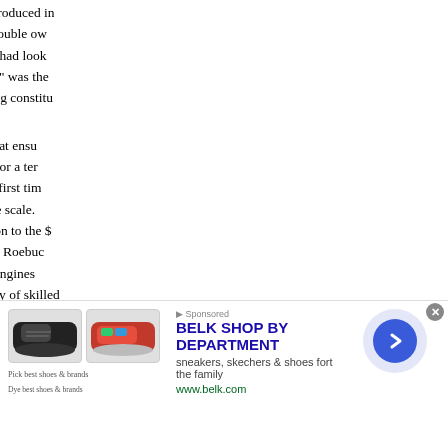The bill extending the patent was introduced in... The mining interest was in serious trouble over the expense of pumping the water. They had looked to their rights to relieve them. No monopoly," was the cry. Burke pleaded the cause of his mining constituents.
We need not follow the discussion that ensued. Suffice to say it was finally granted for a term. Britain was to have probably for the first time a specialty to be produced upon a large scale. It paid first profits from the patent in addition to the $... the thousand, at the urgent request of Roebuck... his faith in prompt returns from the engines... facilities followed, as well as a supply of skilled...
The celebrated Wilkinson now appears upon... founder of his day, an original Captain of Industry... for three dollars a week. He cast a cylinder eigh... which bored it accurately, thus remedying... substituted for the tin-lined cylinder of the trium... the engine before, the new cylinder improved... ships, and also in ordering the first engine bui... taken by Watt that this should be perfect...
[Figure (infographic): Web advertisement banner for Belk Shop by Department. Shows two pairs of shoes (sneakers/skechers), headline 'BELK SHOP BY DEPARTMENT', subtext 'sneakers, skechers & shoes fort the family', URL 'www.belk.com', and a circular arrow button with light purple/blue circle. Has a close (X) button and sponsored marker.]